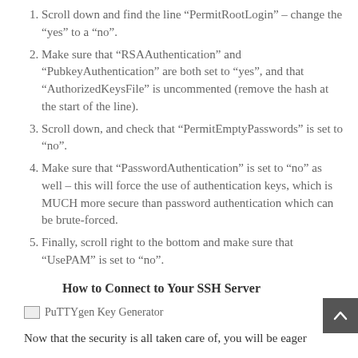Scroll down and find the line “PermitRootLogin” – change the “yes” to a “no”.
Make sure that “RSAAuthentication” and “PubkeyAuthentication” are both set to “yes”, and that “AuthorizedKeysFile” is uncommented (remove the hash at the start of the line).
Scroll down, and check that “PermitEmptyPasswords” is set to “no”.
Make sure that “PasswordAuthentication” is set to “no” as well – this will force the use of authentication keys, which is MUCH more secure than password authentication which can be brute-forced.
Finally, scroll right to the bottom and make sure that “UsePAM” is set to “no”.
How to Connect to Your SSH Server
[Figure (illustration): PuTTYgen Key Generator image placeholder]
Now that the security is all taken care of, you will be eager